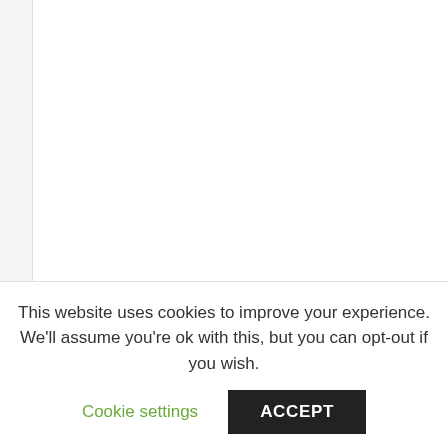The leather working tools, excavated from Contrebandiers Cave near the Atlantic coast of Morocco, are made of ___
This website uses cookies to improve your experience. We'll assume you're ok with this, but you can opt-out if you wish.
Cookie settings  ACCEPT